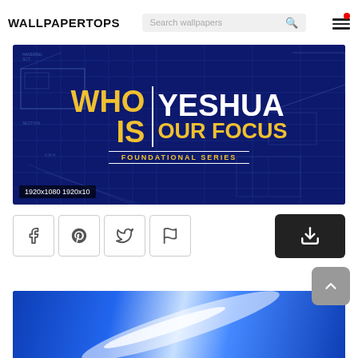WALLPAPERTOPS
[Figure (screenshot): Wallpaper image with dark blue blueprint background showing text: WHO IS YESHUA OUR FOCUS – FOUNDATIONAL SERIES, with resolution badge 1920x1080 1920x10]
1920x1080 1920x10
[Figure (screenshot): Blue abstract light-streak wallpaper preview, partially visible at bottom of page]